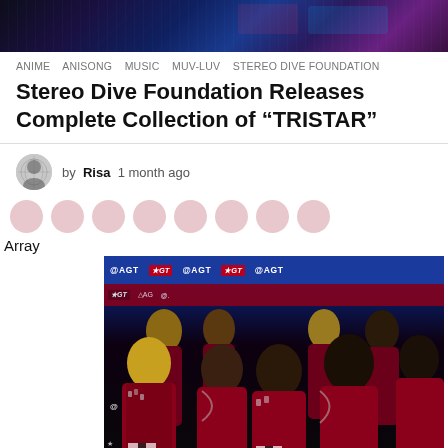[Figure (photo): Top banner image with colorful concert/performance lighting background]
ANIME   ANISONG   MUSIC   MUV-LUV   STEREO DIVE FOUNDATION
Stereo Dive Foundation Releases Complete Collection of “TRISTAR”
by Risa 1 month ago
Array
[Figure (photo): Group photo of seven young men in matching dark red/maroon sequined jackets with silver embellishments, posed in front of an @AGT (America's Got Talent) branded blue backdrop]